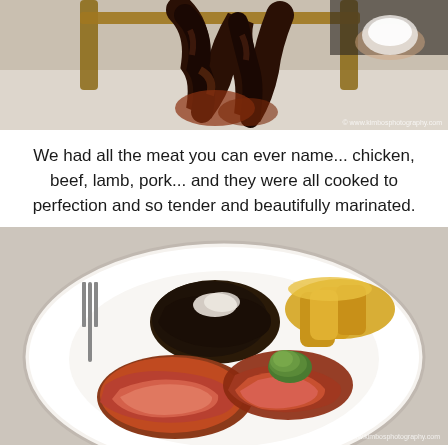[Figure (photo): A rack of meat (ribs) being held over a white tablecloth setting, appearing charred and well-cooked. Watermark: www.kimbosphotography.com]
We had all the meat you can ever name... chicken, beef, lamb, pork... and they were all cooked to perfection and so tender and beautifully marinated.
[Figure (photo): A white plate with sliced medium-rare roast beef topped with green herb butter, alongside dark-crusted meat pieces and golden roasted potatoes/chips. Watermark: www.kimbosphotography.com]